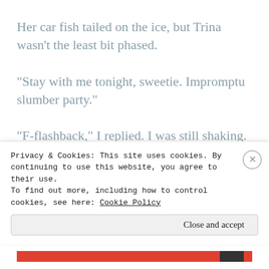Her car fish tailed on the ice, but Trina wasn’t the least bit phased.
“Stay with me tonight, sweetie. Impromptu slumber party.”
“F-flashback,” I replied. I was still shaking.
“Just focus on your breaths. It’s all over now.
Privacy & Cookies: This site uses cookies. By continuing to use this website, you agree to their use.
To find out more, including how to control cookies, see here: Cookie Policy
Close and accept